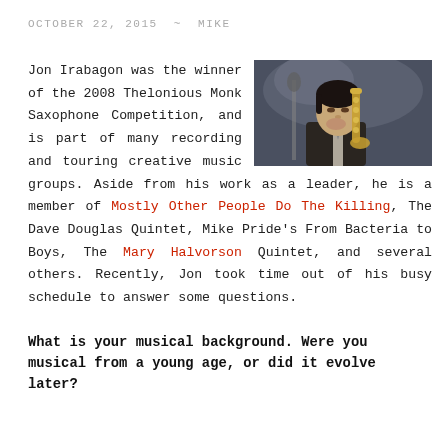OCTOBER 22, 2015  ~  MIKE
Jon Irabagon was the winner of the 2008 Thelonious Monk Saxophone Competition, and is part of many recording and touring creative music groups. Aside from his work as a leader, he is a member of Mostly Other People Do The Killing, The Dave Douglas Quintet, Mike Pride's From Bacteria to Boys, The Mary Halvorson Quintet, and several others. Recently, Jon took time out of his busy schedule to answer some questions.
[Figure (photo): Photo of Jon Irabagon playing saxophone, wearing a suit, dark hair, smoky background]
What is your musical background. Were you musical from a young age, or did it evolve later?